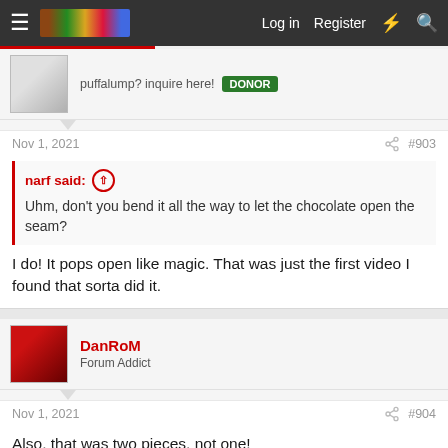Log in  Register
puffalump? inquire here!  DONOR
Nov 1, 2021  #903
narf said: Uhm, don't you bend it all the way to let the chocolate open the seam?
I do! It pops open like magic. That was just the first video I found that sorta did it.
DanRoM
Forum Addict
Nov 1, 2021  #904
Also, that was two pieces, not one!